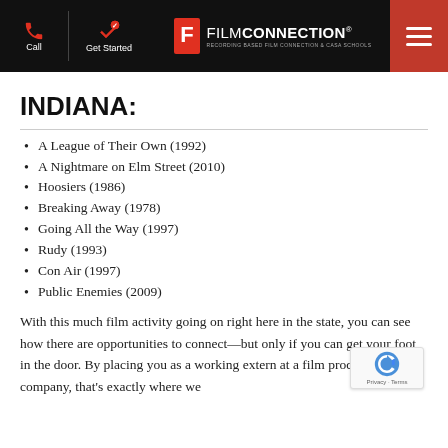Film Connection — Call | Get Started | FILMCONNECTION
INDIANA:
A League of Their Own (1992)
A Nightmare on Elm Street (2010)
Hoosiers (1986)
Breaking Away (1978)
Going All the Way (1997)
Rudy (1993)
Con Air (1997)
Public Enemies (2009)
With this much film activity going on right here in the state, you can see how there are opportunities to connect—but only if you can get your foot in the door. By placing you as a working extern at a film production company, that's exactly where we